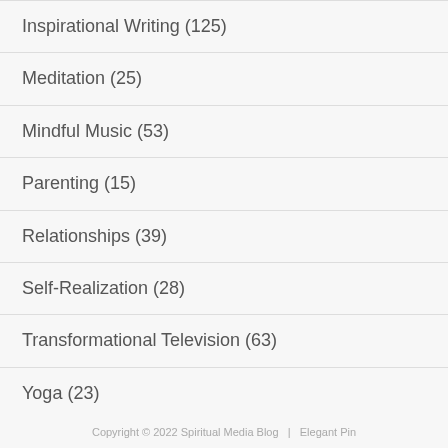Inspirational Writing (125)
Meditation (25)
Mindful Music (53)
Parenting (15)
Relationships (39)
Self-Realization (28)
Transformational Television (63)
Yoga (23)
Copyright © 2022 Spiritual Media Blog  |  Elegant Pin